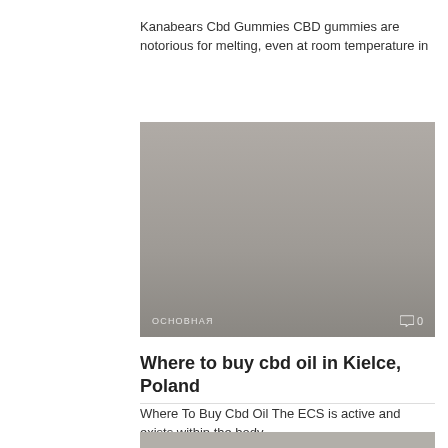Kanabears Cbd Gummies CBD gummies are notorious for melting, even at room temperature in
[Figure (photo): Gray placeholder image card with tag 'ОСНОВНАЯ' on bottom left and a comment bubble icon with '0' on bottom right]
Where to buy cbd oil in Kielce, Poland
Where To Buy Cbd Oil The ECS is active and exists within the body
[Figure (photo): Gray placeholder image card, partially visible at bottom of page]